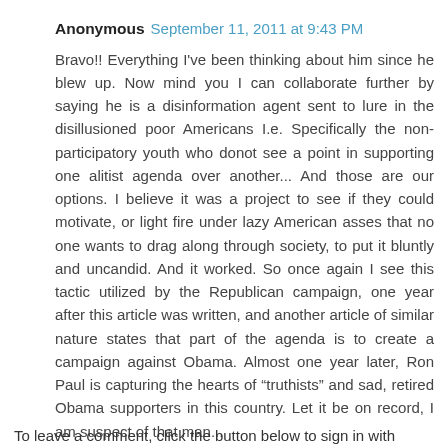Anonymous  September 11, 2011 at 9:43 PM
Bravo!! Everything I've been thinking about him since he blew up. Now mind you I can collaborate further by saying he is a disinformation agent sent to lure in the disillusioned poor Americans I.e. Specifically the non-participatory youth who donot see a point in supporting one alitist agenda over another... And those are our options. I believe it was a project to see if they could motivate, or light fire under lazy American asses that no one wants to drag along through society, to put it bluntly and uncandid. And it worked. So once again I see this tactic utilized by the Republican campaign, one year after this article was written, and another article of similar nature states that part of the agenda is to create a campaign against Obama. Almost one year later, Ron Paul is capturing the hearts of "truthists" and sad, retired Obama supporters in this country. Let it be on record, I am suspect of that man...
Reply
To leave a comment, click the button below to sign in with